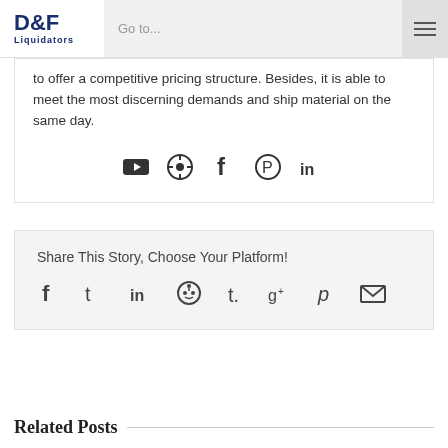D&F Liquidators — Go to... navigation
to offer a competitive pricing structure. Besides, it is able to meet the most discerning demands and ship material on the same day.
[Figure (infographic): Social media icons row: YouTube, a circular icon, Facebook, Pinterest, LinkedIn]
Share This Story, Choose Your Platform!
[Figure (infographic): Social sharing icons: Facebook, Twitter, LinkedIn, Reddit, Tumblr, Google+, Pinterest, Email]
Related Posts